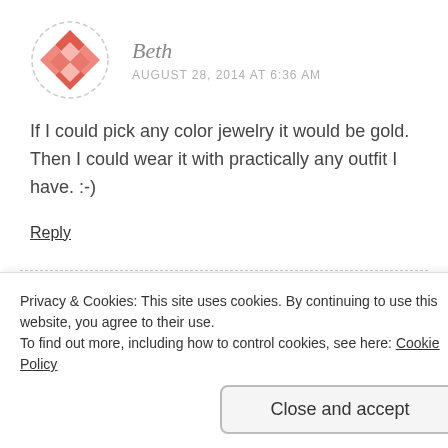[Figure (illustration): Avatar icon for Beth — circular dashed border with a diamond/checkerboard pattern in red/salmon color]
Beth
AUGUST 28, 2014 AT 6:36 AM
If I could pick any color jewelry it would be gold.  Then I could wear it with practically any outfit I have. :-)
Reply
[Figure (illustration): Avatar icon for Kristen Miller — circular dashed border with a green mosaic/pattern]
Kristen Miller
Privacy & Cookies: This site uses cookies. By continuing to use this website, you agree to their use.
To find out more, including how to control cookies, see here: Cookie Policy
Close and accept